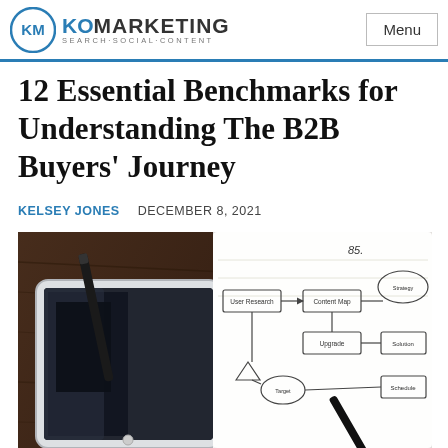KO MARKETING SEARCH·SOCIAL·CONTENT
12 Essential Benchmarks for Understanding The B2B Buyers' Journey
KELSEY JONES   DECEMBER 8, 2021
[Figure (photo): A tablet and a stylus pen resting on a dark wood surface beside an open notebook with a hand-drawn flowchart/diagram on it and a black pen.]